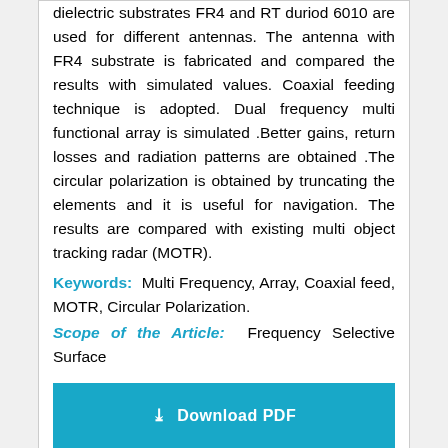dielectric substrates FR4 and RT duriod 6010 are used for different antennas. The antenna with FR4 substrate is fabricated and compared the results with simulated values. Coaxial feeding technique is adopted. Dual frequency multi functional array is simulated .Better gains, return losses and radiation patterns are obtained .The circular polarization is obtained by truncating the elements and it is useful for navigation. The results are compared with existing multi object tracking radar (MOTR).
Keywords: Multi Frequency, Array, Coaxial feed, MOTR, Circular Polarization.
Scope of the Article: Frequency Selective Surface
[Figure (other): Download PDF button]